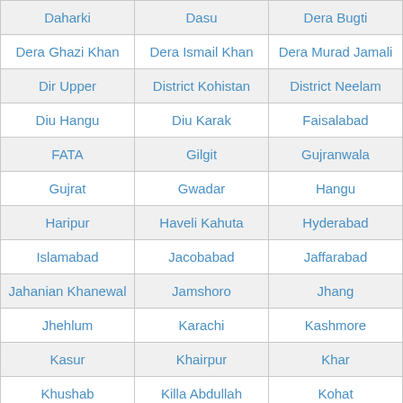| Daharki | Dasu | Dera Bugti |
| Dera Ghazi Khan | Dera Ismail Khan | Dera Murad Jamali |
| Dir Upper | District Kohistan | District Neelam |
| Diu Hangu | Diu Karak | Faisalabad |
| FATA | Gilgit | Gujranwala |
| Gujrat | Gwadar | Hangu |
| Haripur | Haveli Kahuta | Hyderabad |
| Islamabad | Jacobabad | Jaffarabad |
| Jahanian Khanewal | Jamshoro | Jhang |
| Jhehlum | Karachi | Kashmore |
| Kasur | Khairpur | Khar |
| Khushab | Killa Abdullah | Kohat |